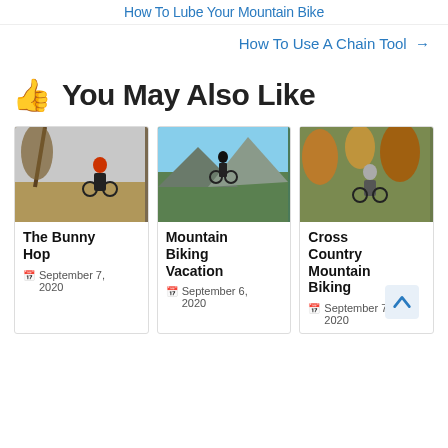How To Lube Your Mountain Bike
How To Use A Chain Tool →
👍 You May Also Like
[Figure (photo): Mountain biker riding downhill through dry brush and trees]
The Bunny Hop
September 7, 2020
[Figure (photo): Mountain biker on rocky ridge with mountains in background]
Mountain Biking Vacation
September 6, 2020
[Figure (photo): Cross country mountain biker riding through autumn foliage]
Cross Country Mountain Biking
September 7, 2020